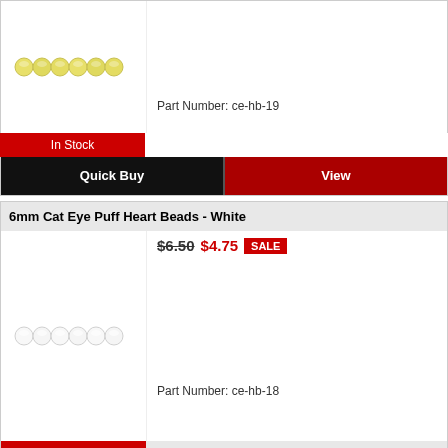[Figure (photo): Yellow cat eye puff heart beads in a row on white background]
In Stock
Part Number: ce-hb-19
Quick Buy
View
6mm Cat Eye Puff Heart Beads - White
[Figure (photo): White cat eye puff heart beads in a row on white background]
In Stock
Part Number: ce-hb-18
Quick Buy
View
OFFERS & PROMOTIONS